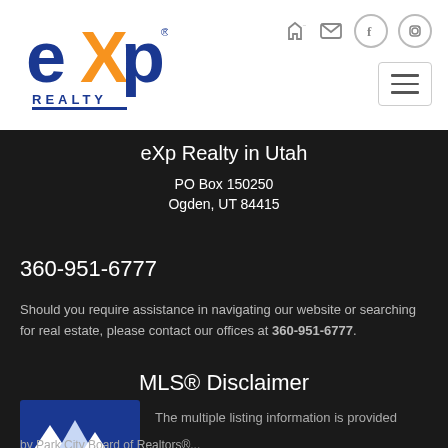[Figure (logo): eXp Realty logo with orange X and blue text]
eXp Realty in Utah
PO Box 150250
Ogden, UT 84415
360-951-6777
Should you require assistance in navigating our website or searching for real estate, please contact our offices at 360-951-6777.
MLS® Disclaimer
[Figure (logo): Park City Board of Realtors logo with mountain silhouette]
The multiple listing information is provided
by Park City Board of Realtors®